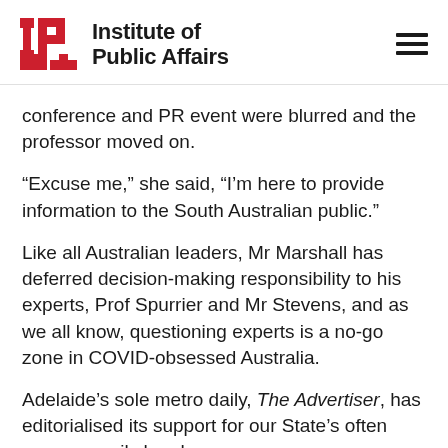Institute of Public Affairs
conference and PR event were blurred and the professor moved on.
“Excuse me,” she said, “I’m here to provide information to the South Australian public.”
Like all Australian leaders, Mr Marshall has deferred decision-making responsibility to his experts, Prof Spurrier and Mr Stevens, and as we all know, questioning experts is a no-go zone in COVID-obsessed Australia.
Adelaide’s sole metro daily, The Advertiser, has editorialised its support for our State’s often unnecessarily harsh measures on